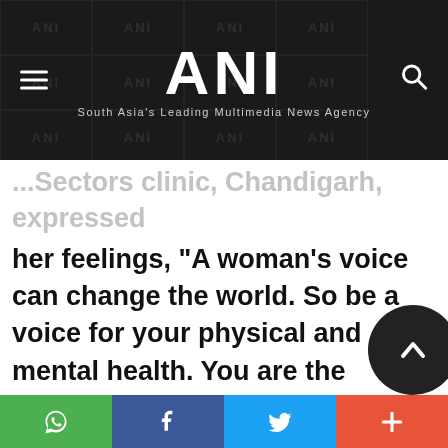ANI — South Asia's Leading Multimedia News Agency
...Sectors clinic, Chandigarh, expressed her feelings, "A woman's voice can change the world. So be a voice for your physical and mental health. You are the flagbearer of your family and society."
Early diagnosis plays an important role in prioritizing women's health and breaking the bias. To understand and learn more about how you can improve your well-being, visit the SimpliHealth website or youtube channel
Social share buttons: WhatsApp, Facebook, Twitter, More